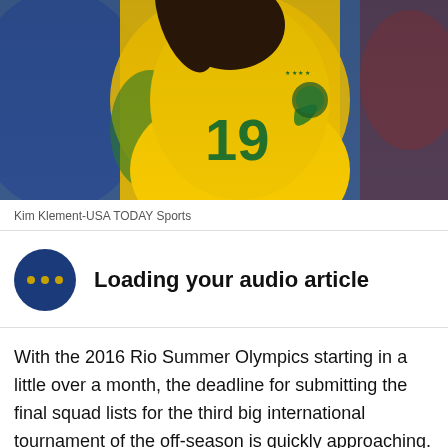[Figure (photo): A soccer player wearing Brazil national team yellow jersey with number 19, raising his fist in celebration. Background shows blurred stadium crowd.]
Kim Klement-USA TODAY Sports
Loading your audio article
With the 2016 Rio Summer Olympics starting in a little over a month, the deadline for submitting the final squad lists for the third big international tournament of the off-season is quickly approaching.